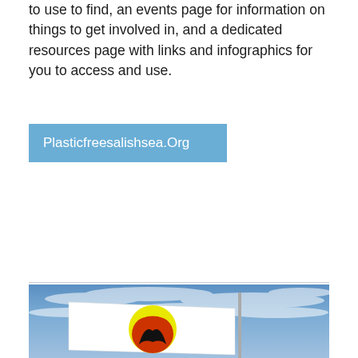to use to find, an events page for information on things to get involved in, and a dedicated resources page with links and infographics for you to access and use.
Plasticfreesalishsea.Org
[Figure (photo): A white flag with a circular emblem featuring yellow, red/orange, and black whale tail design, flying against a blue sky with wispy clouds, mounted on a silver pole.]